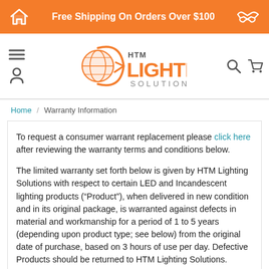Free Shipping On Orders Over $100
[Figure (logo): HTM Lighting Solutions logo with orange globe and swoosh graphic]
Home / Warranty Information
To request a consumer warrant replacement please click here after reviewing the warranty terms and conditions below.
The limited warranty set forth below is given by HTM Lighting Solutions with respect to certain LED and Incandescent lighting products (“Product”), when delivered in new condition and in its original package, is warranted against defects in material and workmanship for a period of 1 to 5 years (depending upon product type; see below) from the original date of purchase, based on 3 hours of use per day. Defective Products should be returned to HTM Lighting Solutions. Contact HTM Lighting Solutions about the